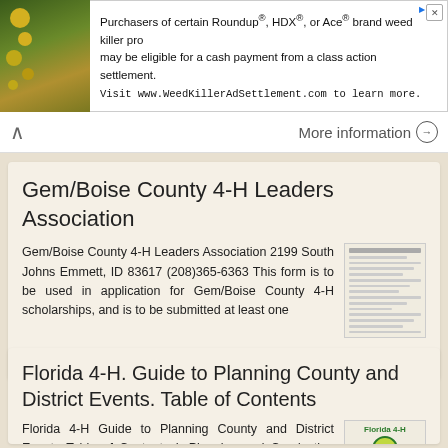[Figure (other): Advertisement banner: photo of yellow flowers on rocks beside text about Roundup/HDX/Ace weed killer class action settlement. Visit www.WeedKillerAdSettlement.com to learn more.]
More information
Gem/Boise County 4-H Leaders Association
Gem/Boise County 4-H Leaders Association 2199 South Johns Emmett, ID 83617 (208)365-6363 This form is to be used in application for Gem/Boise County 4-H scholarships, and is to be submitted at least one
More information
Florida 4-H. Guide to Planning County and District Events. Table of Contents
Florida 4-H Guide to Planning County and District Events Table of Contents I. Planning and Conducting County and District Events Introduction 2 Suggested Committees 3 II.